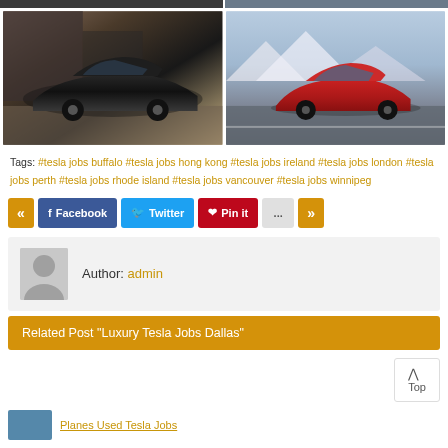[Figure (photo): Two Tesla car photos side by side - black Model S on left, red Model 3 on right]
Tags: #tesla jobs buffalo #tesla jobs hong kong #tesla jobs ireland #tesla jobs london #tesla jobs perth #tesla jobs rhode island #tesla jobs vancouver #tesla jobs winnipeg
« Facebook Twitter Pin it ... »
Author: admin
Related Post "Luxury Tesla Jobs Dallas"
Top